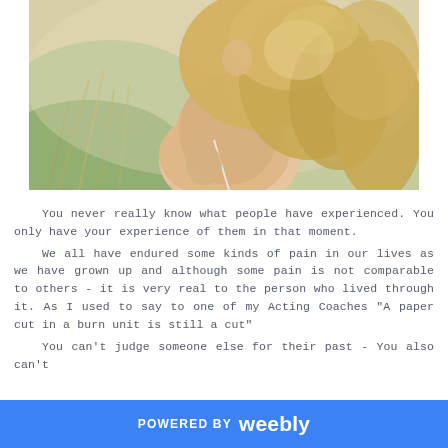[Figure (photo): A photo of a woman with blonde wavy hair seen from behind, bare-shouldered, against a soft green/wheat field background]
You never really know what people have experienced. You only have your experience of them in that moment.

We all have endured some kinds of pain in our lives as we have grown up and although some pain is not comparable to others - it is very real to the person who lived through it. As I used to say to one of my Acting Coaches "A paper cut in a burn unit is still a cut"

You can't judge someone else for their past - You also can't
POWERED BY weebly